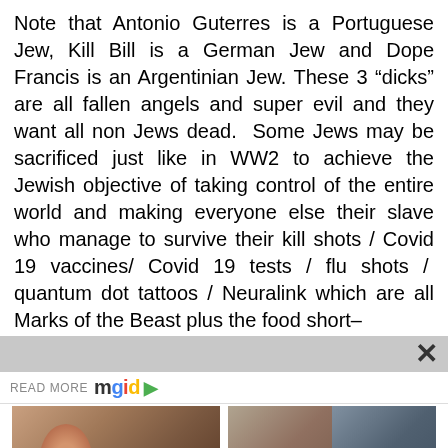Note that Antonio Guterres is a Portuguese Jew, Kill Bill is a German Jew and Dope Francis is an Argentinian Jew. These 3 “dicks” are all fallen angels and super evil and they want all non Jews dead.  Some Jews may be sacrificed just like in WW2 to achieve the Jewish objective of taking control of the entire world and making everyone else their slave who manage to survive their kill shots / Covid 19 vaccines/ Covid 19 tests / flu shots /  quantum dot tattoos / Neuralink which are all Marks of the Beast plus the food short–
[Figure (screenshot): READ MORE mgid logo with play button and close X overlay bar]
[Figure (photo): Left card: woman with short hair, caption '6 TV Characters Whose Departures Have Made The Shows Better'. Right card: two women photos side by side, caption '9 Heroes Of Popular Memes Then And Now']